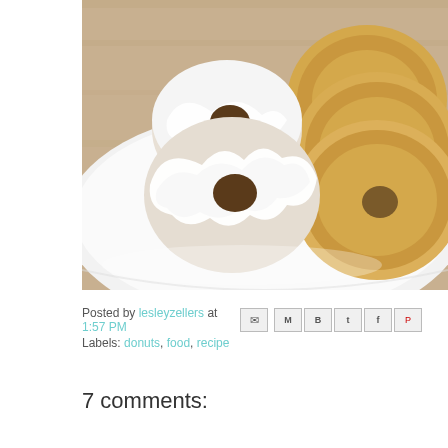[Figure (photo): Photo of donuts on a white plate. Left side shows two frosted donuts with white cream cheese frosting and visible donut holes. Right side shows plain golden-brown baked donuts stacked. Plate is on a wooden surface.]
Posted by lesleyzellers at 1:57 PM
Labels: donuts, food, recipe
7 comments: